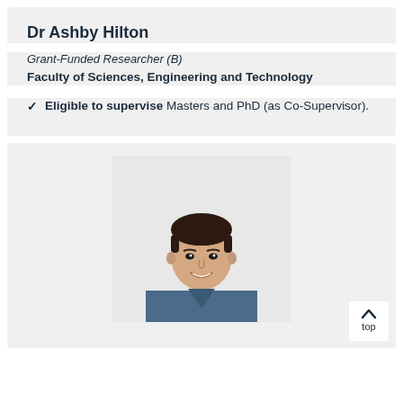Dr Ashby Hilton
Grant-Funded Researcher (B)
Faculty of Sciences, Engineering and Technology
✓ Eligible to supervise Masters and PhD (as Co-Supervisor).
[Figure (photo): Portrait photo of Dr Ashby Hilton, a young man with dark short hair, smiling, wearing a blue denim shirt]